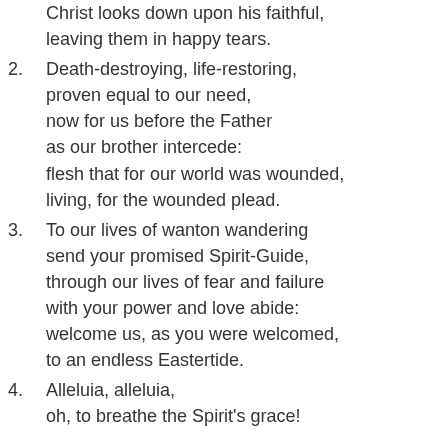Christ looks down upon his faithful, leaving them in happy tears.
2. Death-destroying, life-restoring, proven equal to our need, now for us before the Father as our brother intercede: flesh that for our world was wounded, living, for the wounded plead.
3. To our lives of wanton wandering send your promised Spirit-Guide, through our lives of fear and failure with your power and love abide: welcome us, as you were welcomed, to an endless Eastertide.
4. Alleluia, alleluia, oh, to breathe the Spirit's grace!